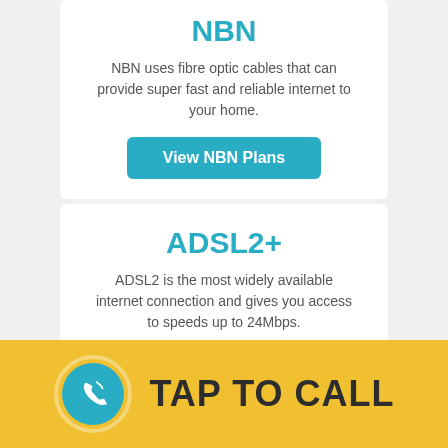NBN
NBN uses fibre optic cables that can provide super fast and reliable internet to your home.
View NBN Plans
ADSL2+
ADSL2 is the most widely available internet connection and gives you access to speeds up to 24Mbps.
View ADSL2+ Plans
TAP TO CALL